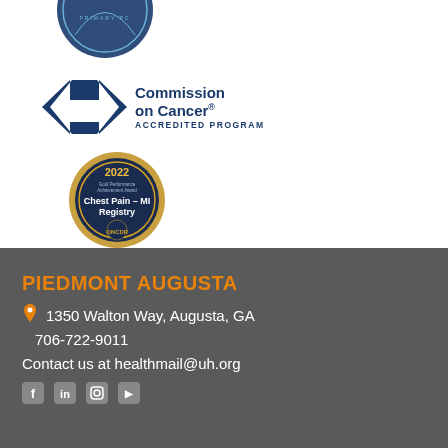[Figure (logo): Circular badge logo with Primary PC text at top]
[Figure (logo): Commission on Cancer Accredited Program logo with blue double-arrow symbol]
[Figure (logo): 2022 Gold Performance Achievement Award - Chest Pain MI Registry NCDR circular badge]
PIEDMONT AUGUSTA
1350 Walton Way, Augusta, GA
706-722-9011
Contact us at healthmail@uh.org